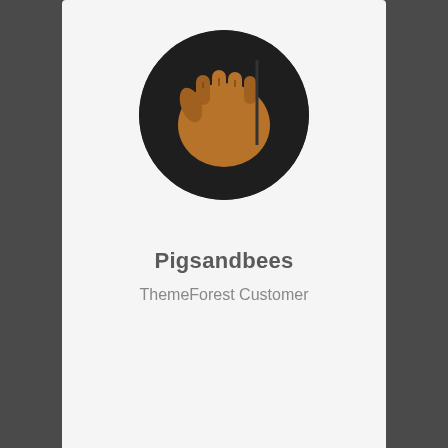[Figure (illustration): Circular avatar with dark background showing a stylized fist illustration]
Pigsandbees
ThemeForest Customer
“Just bought my 5th and 6th copies of Avada this weekend!!!”